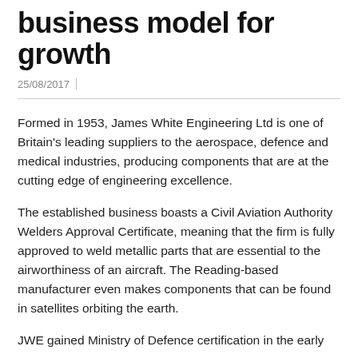business model for growth
25/08/2017
Formed in 1953, James White Engineering Ltd is one of Britain's leading suppliers to the aerospace, defence and medical industries, producing components that are at the cutting edge of engineering excellence.
The established business boasts a Civil Aviation Authority Welders Approval Certificate, meaning that the firm is fully approved to weld metallic parts that are essential to the airworthiness of an aircraft. The Reading-based manufacturer even makes components that can be found in satellites orbiting the earth.
JWE gained Ministry of Defence certification in the early